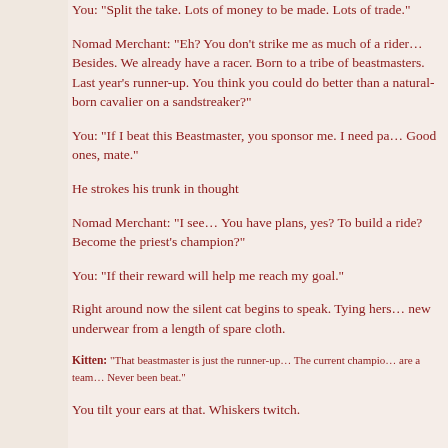You: "Split the take. Lots of money to be made. Lots of trade."
Nomad Merchant: "Eh? You don't strike me as much of a rider… Besides. We already have a racer. Born to a tribe of beastmasters. Last year's runner-up. You think you could do better than a natural-born cavalier on a sandstreaker?"
You: "If I beat this Beastmaster, you sponsor me. I need parts. Good ones, mate."
He strokes his trunk in thought
Nomad Merchant: "I see… You have plans, yes? To build a ride? Become the priest's champion?"
You: "If their reward will help me reach my goal."
Right around now the silent cat begins to speak. Tying herself new underwear from a length of spare cloth.
Kitten: "That beastmaster is just the runner-up… The current champion and beast are a team… Never been beat."
You tilt your ears at that. Whiskers twitch.